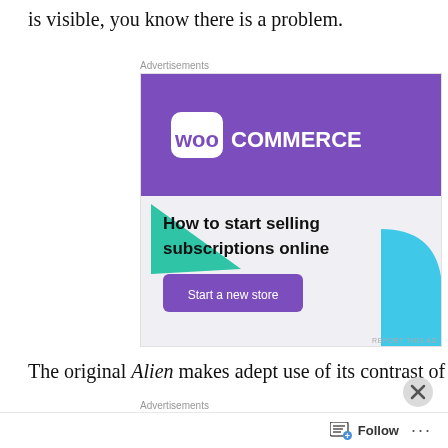is visible, you know there is a problem.
[Figure (screenshot): WooCommerce advertisement banner: purple header with WooCommerce logo (speech bubble icon with 'Woo' text and 'COMMERCE'), teal/green triangle shape on left, light blue curved shape on bottom right, text 'How to start selling subscriptions online', purple button 'Start a new store']
The original Alien makes adept use of its contrast of light
[Figure (screenshot): Second advertisement block partially visible, showing text 'Professionally designed sites' on a warm beige background]
Follow